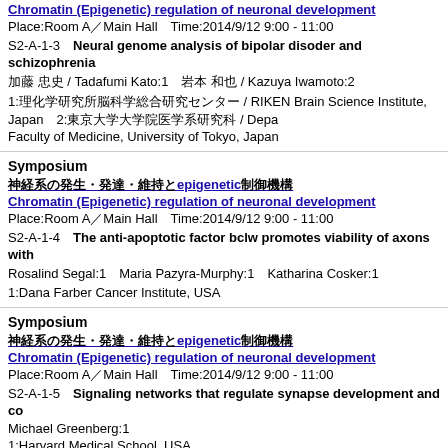Chromatin (Epigenetic) regulation of neuronal development
Place:Room A／Main Hall　Time:2014/9/12 9:00 - 11:00
S2-A-1-3　Neural genome analysis of bipolar disoder and schizophrenia
加藤 忠史 / Tadafumi Kato:1　岩本 和也 / Kazuya Iwamoto:2
1:理化学研究所脳科学総合研究センター / RIKEN Brain Science Institute, Japan　2:東京大学大学院医学系研究科 / Department of Neuroscience and Pharmacology, Graduate School of Medicine, Faculty of Medicine, University of Tokyo, Japan
Symposium
神経系の発生・発達・維持とepigenetic制御機構
Chromatin (Epigenetic) regulation of neuronal development
Place:Room A／Main Hall　Time:2014/9/12 9:00 - 11:00
S2-A-1-4　The anti-apoptotic factor bclw promotes viability of axons with...
Rosalind Segal:1　Maria Pazyra-Murphy:1　Katharina Cosker:1
1:Dana Farber Cancer Institute, USA
Symposium
神経系の発生・発達・維持とepigenetic制御機構
Chromatin (Epigenetic) regulation of neuronal development
Place:Room A／Main Hall　Time:2014/9/12 9:00 - 11:00
S2-A-1-5　Signaling networks that regulate synapse development and co...
Michael Greenberg:1
1:Harvard Medical School, USA
Symposium